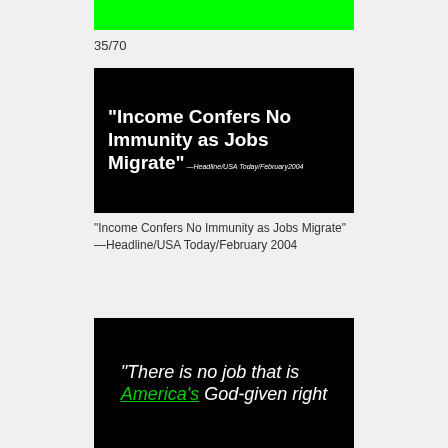[Figure (other): Green rectangle bar at top of page]
35/70
[Figure (other): Black background image with white bold text: “Income Confers No Immunity as Jobs Migrate” —Headline/USA Today/February2004]
“Income Confers No Immunity as Jobs Migrate” —Headline/USA Today/February 2004
[Figure (other): Black background image with handwritten-style text: “There is no job that is America’s God-given right — with America’s in green underlined text]